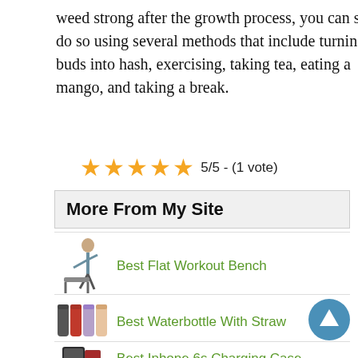weed strong after the growth process, you can still do so using several methods that include turning buds into hash, exercising, taking tea, eating a mango, and taking a break.
5/5 - (1 vote)
More From My Site
Best Flat Workout Bench
Best Waterbottle With Straw
Best Iphone 6s Charging Case